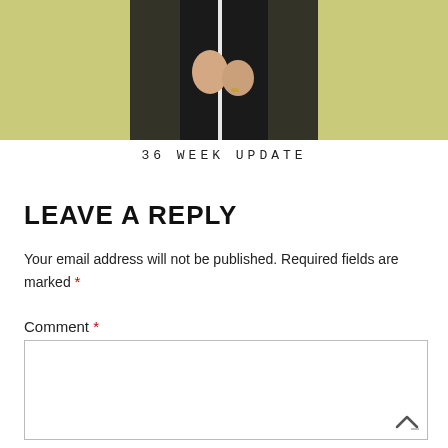[Figure (photo): Cropped photo showing a person's torso and hands wearing black clothing, against a yellowish-green background.]
36 WEEK UPDATE
LEAVE A REPLY
Your email address will not be published. Required fields are marked *
Comment *